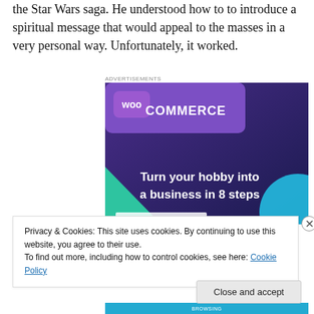the Star Wars saga. He understood how to to introduce a spiritual message that would appeal to the masses in a very personal way. Unfortunately, it worked.
[Figure (screenshot): WooCommerce advertisement banner with purple/dark blue background, teal triangle shape on left, cyan circle on right. White text reads 'Turn your hobby into a business in 8 steps'. WooCommerce logo at top left in a speech-bubble style badge.]
Privacy & Cookies: This site uses cookies. By continuing to use this website, you agree to their use.
To find out more, including how to control cookies, see here: Cookie Policy
Close and accept